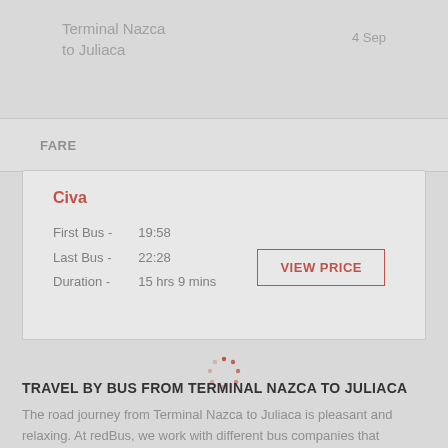Terminal Nazca to Juliaca
4 Sep
| FARE |
| --- |
Civa
First Bus - 19:58
Last Bus - 22:28
Duration - 15 hrs 9 mins
TRAVEL BY BUS FROM TERMINAL NAZCA TO JULIACA
The road journey from Terminal Nazca to Juliaca is pleasant and relaxing. At redBus, we work with different bus companies that operate on this route with well-maintained buses and experienced drivers. Although the travel time varies from one bus operator to another